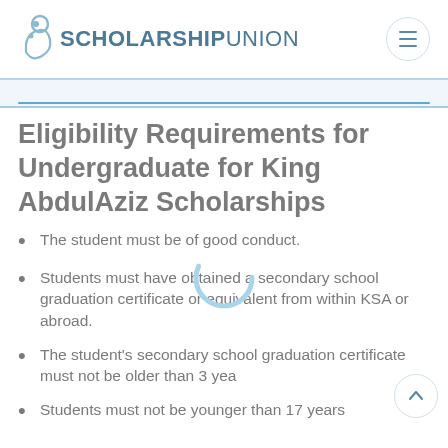SCHOLARSHIPUNION
Eligibility Requirements for Undergraduate for King AbdulAziz Scholarships
The student must be of good conduct.
Students must have obtained a secondary school graduation certificate or equivalent from within KSA or abroad.
The student's secondary school graduation certificate must not be older than 3 yea
Students must not be younger than 17 years